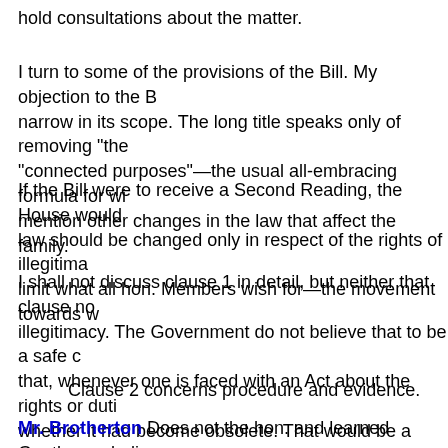hold consultations about the matter.
I turn to some of the provisions of the Bill. My objection to the B narrow in its scope. The long title speaks only of removing "the "connected purposes"—the usual all-embracing formula for wi mention other changes in the law that affect the family.
If the Bill were to receive a Second Reading, the House would law should be changed only in respect of the rights of illegitima limit what all hon. Members wish for—the movement towards w
I shall not discuss clause 1 in detail, but neither that clause no illegitimacy. The Government do not believe that to be a safe c that, whenever one is faced with an Act about the rights or duti whether it had become obsolete. That would be a massive task Act in Committee in order to decide the consequences.
Clause 2 concerns procedure and evidence.
Mr. Brotherton Does not the hon. and learned Gentleman beli nothing else matters? Is not that the important thing? Whether that the next children and that the next all have of a fact a